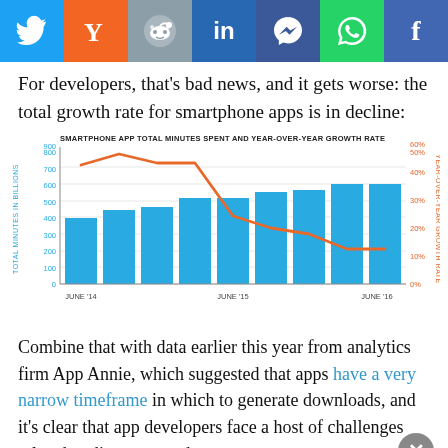[Figure (other): Social media share buttons bar: Twitter, Yahoo, Reddit, LinkedIn, Messenger, WhatsApp, Facebook]
For developers, that’s bad news, and it gets worse: the total growth rate for smartphone apps is in decline:
[Figure (bar-chart): SMARTPHONE APP TOTAL MINUTES SPENT AND YEAR-OVER-YEAR GROWTH RATE]
Combine that with data earlier this year from analytics firm App Annie, which suggested that apps have a very narrow timeframe in which to generate downloads, and it’s clear that app developers face a host of challenges related to discovery and engagement.